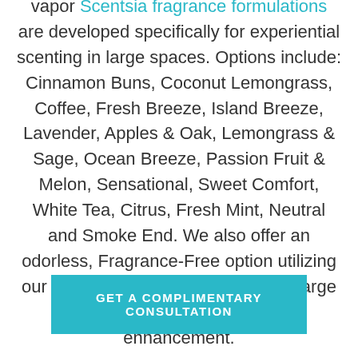Scentsia fragrance formulations are developed specifically for experiential scenting in large spaces. Options include: Cinnamon Buns, Coconut Lemongrass, Coffee, Fresh Breeze, Island Breeze, Lavender, Apples & Oak, Lemongrass & Sage, Ocean Breeze, Passion Fruit & Melon, Sensational, Sweet Comfort, White Tea, Citrus, Fresh Mint, Neutral and Smoke End. We also offer an odorless, Fragrance-Free option utilizing our Metazene additive for superior, large area odor control without aroma enhancement.
GET A COMPLIMENTARY CONSULTATION